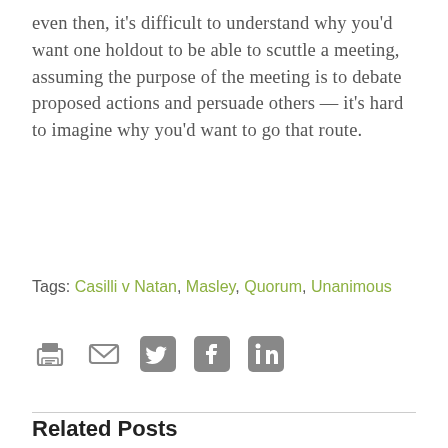even then, it's difficult to understand why you'd want one holdout to be able to scuttle a meeting, assuming the purpose of the meeting is to debate proposed actions and persuade others — it's hard to imagine why you'd want to go that route.
Tags: Casilli v Natan, Masley, Quorum, Unanimous
[Figure (other): Social sharing icons: print, email, Twitter, Facebook, LinkedIn]
Related Posts
[Figure (photo): Photo of a person in a blue suit holding a notebook, with bookshelves in the background]